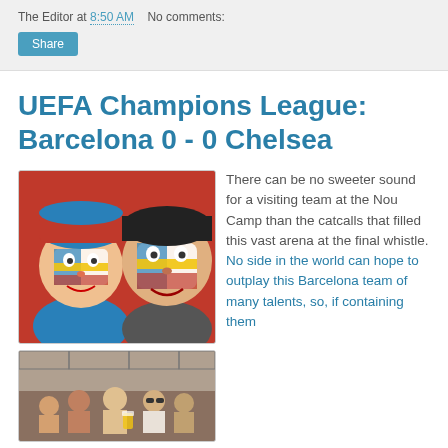The Editor at 8:50 AM   No comments:
UEFA Champions League: Barcelona 0 - 0 Chelsea
[Figure (photo): Two Barcelona fans with faces painted in Barcelona club colors and crest design]
[Figure (photo): Group of shirtless men drinking beer outside]
There can be no sweeter sound for a visiting team at the Nou Camp than the catcalls that filled this vast arena at the final whistle. No side in the world can hope to outplay this Barcelona team of many talents, so, if containing them